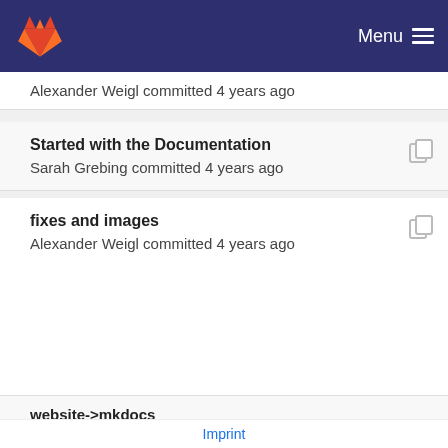Menu
Alexander Weigl committed 4 years ago
Started with the Documentation
Sarah Grebing committed 4 years ago
fixes and images
Alexander Weigl committed 4 years ago
website->mkdocs
Alexander Weigl committed 4 years ago
Started with the Documentation
Sarah Grebing committed 4 years ago
Imprint